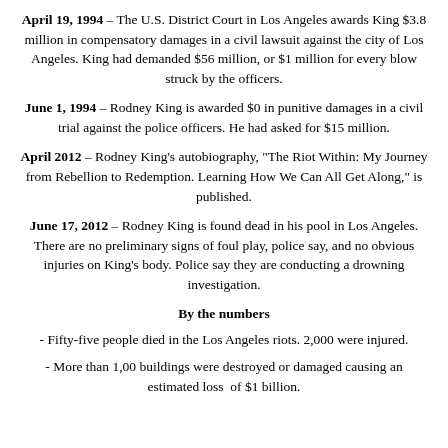April 19, 1994 – The U.S. District Court in Los Angeles awards King $3.8 million in compensatory damages in a civil lawsuit against the city of Los Angeles. King had demanded $56 million, or $1 million for every blow struck by the officers.
June 1, 1994 – Rodney King is awarded $0 in punitive damages in a civil trial against the police officers. He had asked for $15 million.
April 2012 – Rodney King's autobiography, "The Riot Within: My Journey from Rebellion to Redemption. Learning How We Can All Get Along," is published.
June 17, 2012 – Rodney King is found dead in his pool in Los Angeles. There are no preliminary signs of foul play, police say, and no obvious injuries on King's body. Police say they are conducting a drowning investigation.
By the numbers
- Fifty-five people died in the Los Angeles riots. 2,000 were injured.
- More than 1,00 buildings were destroyed or damaged causing an estimated loss  of $1 billion.